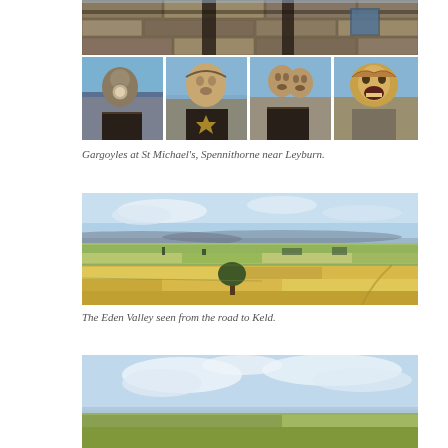[Figure (photo): Top portion of a stone building facade with dark wooden beams or gate, sandstone/limestone wall visible]
[Figure (photo): Four gargoyle stone carvings at St Michael's church, Spennithorne near Leyburn. Four individual close-up shots of different grotesque stone faces/figures]
Gargoyles at St Michael's, Spennithorne near Leyburn.
[Figure (photo): Wide landscape panorama of the Eden Valley seen from the road to Keld, showing green and golden fields, scattered trees, and a blue sky with light clouds]
The Eden Valley seen from the road to Keld.
[Figure (photo): Partial view of another landscape photo at the bottom of the page, showing sky and landscape]